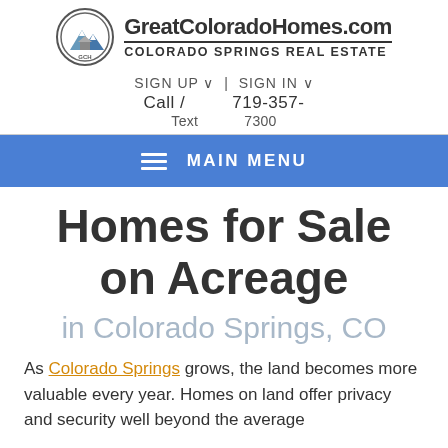GreatColoradoHomes.com — COLORADO SPRINGS REAL ESTATE
SIGN UP ∨ | SIGN IN ∨
Call / Text: 719-357-7300
[Figure (screenshot): Blue navigation bar with hamburger icon and MAIN MENU label]
Homes for Sale on Acreage
in Colorado Springs, CO
As Colorado Springs grows, the land becomes more valuable every year. Homes on land offer privacy and security well beyond the average